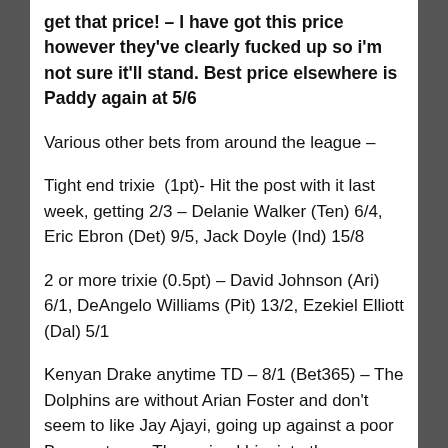get that price! – I have got this price however they've clearly fucked up so i'm not sure it'll stand. Best price elsewhere is Paddy again at 5/6
Various other bets from around the league –
Tight end trixie  (1pt)- Hit the post with it last week, getting 2/3 – Delanie Walker (Ten) 6/4, Eric Ebron (Det) 9/5, Jack Doyle (Ind) 15/8
2 or more trixie (0.5pt) – David Johnson (Ari) 6/1, DeAngelo Williams (Pit) 13/2, Ezekiel Elliott (Dal) 5/1
Kenyan Drake anytime TD – 8/1 (Bet365) – The Dolphins are without Arian Foster and don't seem to like Jay Ajayi, going up against a poor Browns team. They mixed him into the game last week with 2 carries for 12, but importantly a TD in there. This